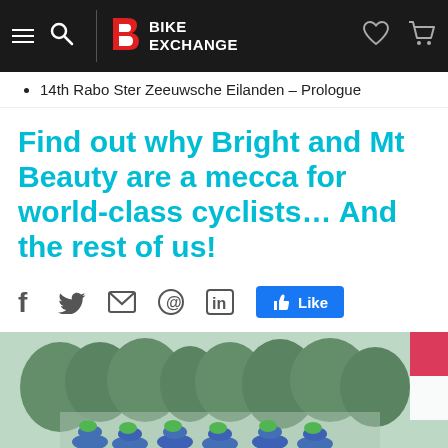BikeExchange
14th Rabo Ster Zeeuwsche Eilanden – Prologue
Find out why Bright and Mt Beauty are a mecca for world-class cyclists… And the rest of us!
[Figure (screenshot): Social share icons: Facebook (f), Twitter (bird), Email (envelope), Pinterest (P), LinkedIn (in), and a Facebook Like button]
[Figure (photo): Group of cyclists in green helmets and blue team jerseys lined up at the start of a race, with trees and a red and white flag visible in the background]